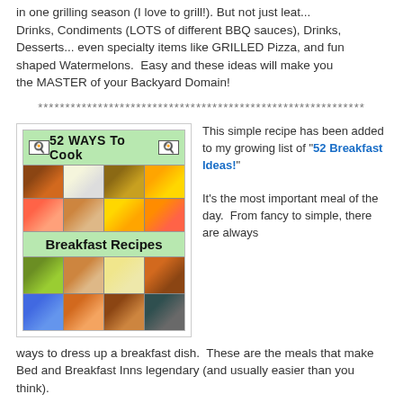in one grilling season (I love to grill!). But not just leat... Drinks, Condiments (LOTS of different BBQ sauces), Drinks, Desserts... even specialty items like GRILLED Pizza, and fun shaped Watermelons.  Easy and these ideas will make you the MASTER of your Backyard Domain!
************************************************************
[Figure (illustration): 52 Ways To Cook Breakfast Recipes book cover with food photos]
This simple recipe has been added to my growing list of "52 Breakfast Ideas!" It's the most important meal of the day.  From fancy to simple, there are always ways to dress up a breakfast dish.  These are the meals that make Bed and Breakfast Inns legendary (and usually easier than you think).